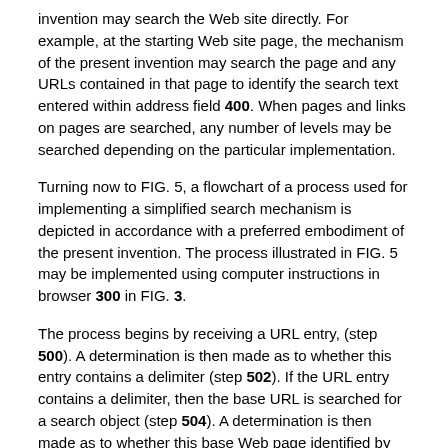invention may search the Web site directly. For example, at the starting Web site page, the mechanism of the present invention may search the page and any URLs contained in that page to identify the search text entered within address field 400. When pages and links on pages are searched, any number of levels may be searched depending on the particular implementation.
Turning now to FIG. 5, a flowchart of a process used for implementing a simplified search mechanism is depicted in accordance with a preferred embodiment of the present invention. The process illustrated in FIG. 5 may be implemented using computer instructions in browser 300 in FIG. 3.
The process begins by receiving a URL entry, (step 500). A determination is then made as to whether this entry contains a delimiter (step 502). If the URL entry contains a delimiter, then the base URL is searched for a search object (step 504). A determination is then made as to whether this base Web page identified by the URL contains a search object (step 506). If a search object is present, then the search object is parsed to identify search criteria (step 508). The identified search criteria is filled in (step